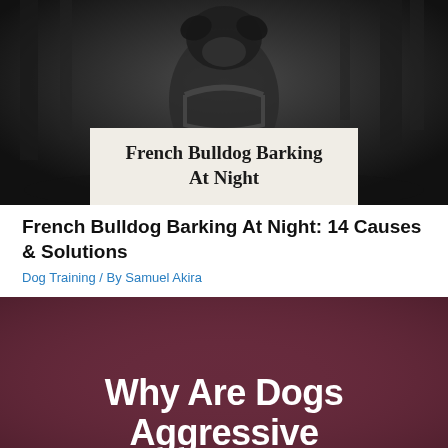[Figure (photo): Black and white photo of a French Bulldog walking toward camera outdoors, with a light beige overlay box containing the text 'French Bulldog Barking At Night']
French Bulldog Barking At Night: 14 Causes & Solutions
Dog Training / By Samuel Akira
[Figure (photo): Dark maroon/burgundy background image with bold white text reading 'Why Are Dogs Aggressive' (partially visible, cut off at bottom)]